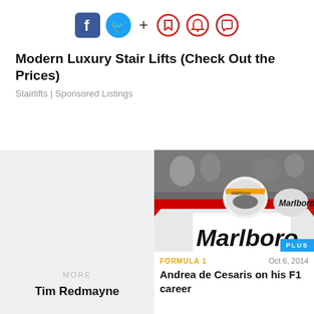[Figure (infographic): Social media sharing bar with Facebook, Twitter, plus sign, and three red circular icons (bookmark, bell, comment)]
Modern Luxury Stair Lifts (Check Out the Prices)
Stairlifts | Sponsored Listings
[Figure (infographic): Left card with 'MORE' label and author name 'Tim Redmayne' on light gray background]
[Figure (photo): Formula 1 Marlboro McLaren car with driver in helmet, PLUS badge in corner]
FORMULA 1   Oct 6, 2014
Andrea de Cesaris on his F1 career